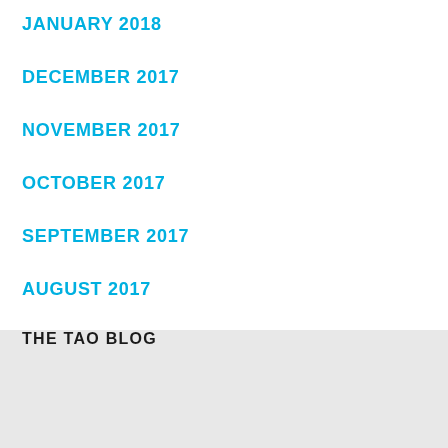JANUARY 2018
DECEMBER 2017
NOVEMBER 2017
OCTOBER 2017
SEPTEMBER 2017
AUGUST 2017
THE TAO BLOG